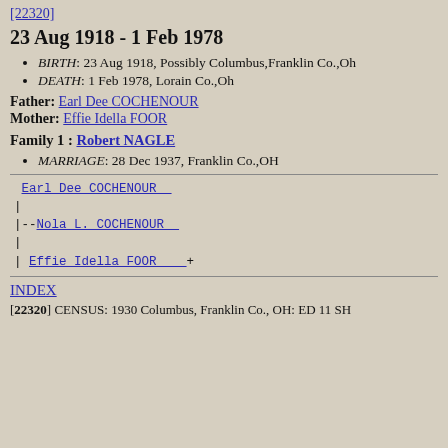[22320]
23 Aug 1918 - 1 Feb 1978
BIRTH: 23 Aug 1918, Possibly Columbus,Franklin Co.,Oh
DEATH: 1 Feb 1978, Lorain Co.,Oh
Father: Earl Dee COCHENOUR
Mother: Effie Idella FOOR
Family 1 : Robert NAGLE
MARRIAGE: 28 Dec 1937, Franklin Co.,OH
Earl Dee COCHENOUR
|
|--Nola L. COCHENOUR
|
| Effie Idella FOOR  +
INDEX
[22320] CENSUS: 1930 Columbus, Franklin Co., OH: ED 11 SH